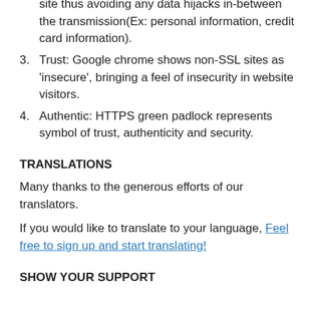site thus avoiding any data hijacks in-between the transmission(Ex: personal information, credit card information).
3. Trust: Google chrome shows non-SSL sites as 'insecure', bringing a feel of insecurity in website visitors.
4. Authentic: HTTPS green padlock represents symbol of trust, authenticity and security.
TRANSLATIONS
Many thanks to the generous efforts of our translators.
If you would like to translate to your language, Feel free to sign up and start translating!
SHOW YOUR SUPPORT